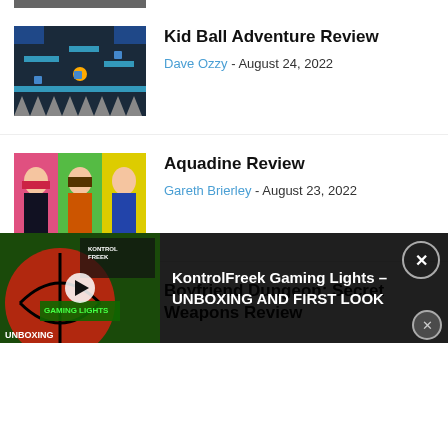[Figure (screenshot): Partial game screenshot at the top of the page, cropped]
Kid Ball Adventure Review
Dave Ozzy - August 24, 2022
[Figure (screenshot): Game screenshot showing pixel-art platformer with dark blue and teal colors]
Aquadine Review
Gareth Brierley - August 23, 2022
[Figure (illustration): Aquadine review thumbnail showing anime-style characters on colorful background]
Boyfriend Dungeon: Secret Weapons Review
[Figure (screenshot): Boyfriend Dungeon game screenshot with characters]
[Figure (screenshot): KontrolFreek Gaming Lights unboxing video thumbnail ad overlay]
KontrolFreek Gaming Lights – UNBOXING AND FIRST LOOK